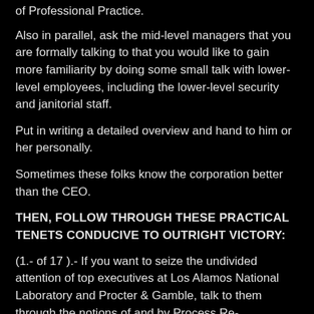of Professional Practice.
Also in parallel, ask the mid-level managers that you are formally talking to that you would like to gain more familiarity by doing some small talk with lower-level employees, including the lower-level security and janitorial staff.
Put in writing a detailed overview and hand to him or her personally.
Sometimes these folks know the corporation better than the CEO.
THEN, FOLLOW THROUGH THESE PRACTICAL TENETS CONDUCIVE TO OUTRIGHT VICTORY:
(1.- of 17 ).- If you want to seize the undivided attention of top executives at Los Alamos National Laboratory and Procter & Gamble, talk to them through the notions of and by Process Re-engineering.